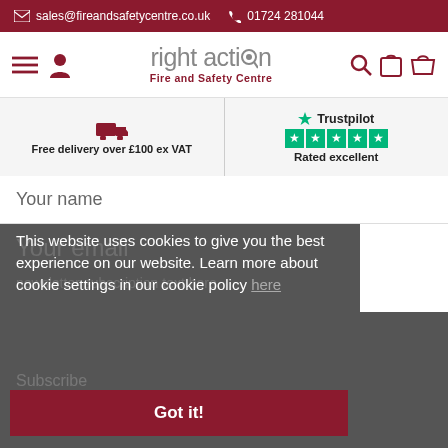sales@fireandsafetycentre.co.uk  01724 281044
[Figure (logo): Right Action Fire and Safety Centre logo with navigation icons]
Free delivery over £100 ex VAT
Trustpilot Rated excellent
Your name
This website uses cookies to give you the best experience on our website. Learn more about cookie settings in our cookie policy here
Got it!